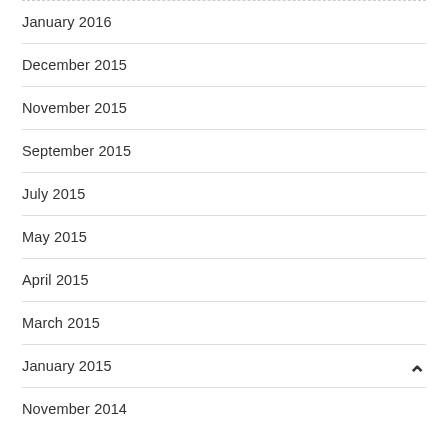January 2016
December 2015
November 2015
September 2015
July 2015
May 2015
April 2015
March 2015
January 2015
November 2014